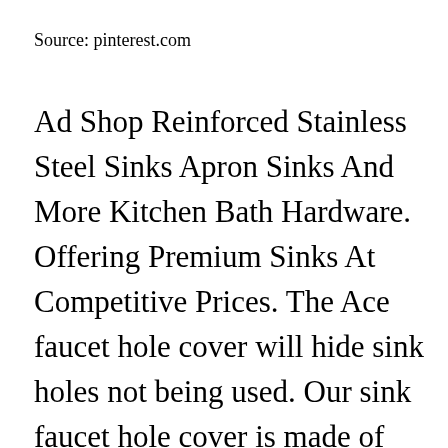Source: pinterest.com
Ad Shop Reinforced Stainless Steel Sinks Apron Sinks And More Kitchen Bath Hardware. Offering Premium Sinks At Competitive Prices. The Ace faucet hole cover will hide sink holes not being used. Our sink faucet hole cover is made of durable stainless steel and plastic you neednt to worry about rusting and tarnishing. We Cre[CLOSE X]autifully Modern